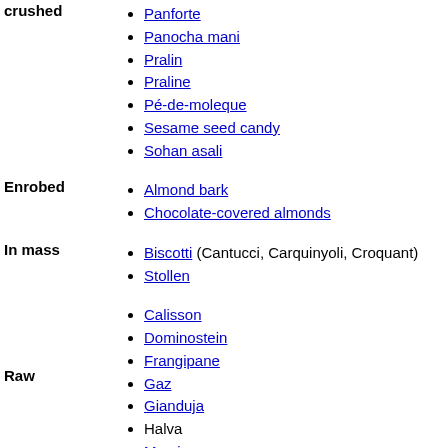Panforte
Panocha mani
Pralin
Praline
Pé-de-moleque
Sesame seed candy
Sohan asali
crushed
Almond bark
Chocolate-covered almonds
Enrobed
Biscotti (Cantucci, Carquinyoli, Croquant)
Stollen
In mass
Calisson
Dominostein
Frangipane
Gaz
Gianduja
Halva
Marzipan
Nougat
Panellets
Paprenjak
Parrinar